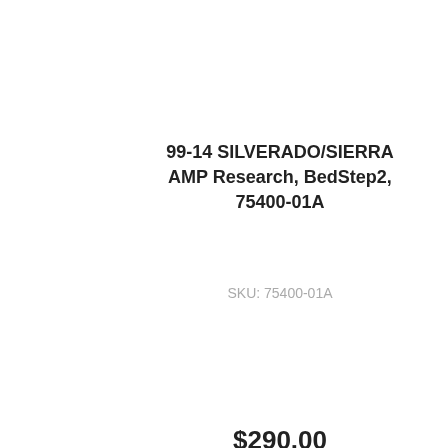99-14 SILVERADO/SIERRA AMP Research, BedStep2, 75400-01A
SKU: 75400-01A
$290.00
Add to Cart
Items 1-3 of 3
SUBSCRIBE To Our Newsletter
Enter email address
Submit